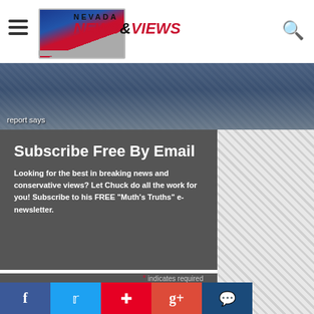Nevada News & Views
report says
Subscribe Free By Email
Looking for the best in breaking news and conservative views? Let Chuck do all the work for you! Subscribe to his FREE "Muth's Truths" e-newsletter.
* indicates required
Email Address *
JOIN NOW
f
twitter
pinterest
g+
comment